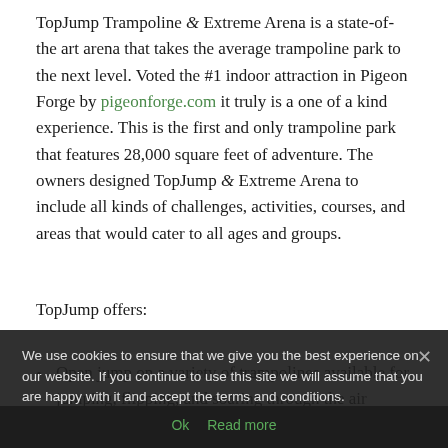TopJump Trampoline & Extreme Arena is a state-of-the art arena that takes the average trampoline park to the next level. Voted the #1 indoor attraction in Pigeon Forge by pigeonforge.com it truly is a one of a kind experience. This is the first and only trampoline park that features 28,000 square feet of adventure. The owners designed TopJump & Extreme Arena to include all kinds of challenges, activities, courses, and areas that would cater to all ages and groups.
TopJump offers:
Open jump on a variety of trampolines available for jumping, flipping, and soaring through the air
A basketball court available for dunking
A giant air bag for channeling your inner stunt man
A dodge-ball court open for tournaments!
We use cookies to ensure that we give you the best experience on our website. If you continue to use this site we will assume that you are happy with it and accept the terms and conditions.